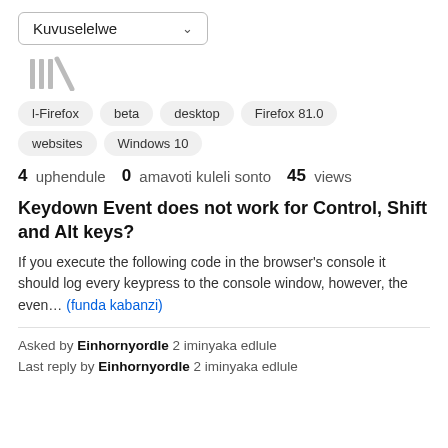Kuvuselelwe (dropdown)
[Figure (other): Library/bookshelf icon in gray]
l-Firefox
beta
desktop
Firefox 81.0
websites
Windows 10
4 uphendule   0 amavoti kuleli sonto   45 views
Keydown Event does not work for Control, Shift and Alt keys?
If you execute the following code in the browser's console onkeydown = function(e){console.log(e);}; it should log every keypress to the console window, however, the even… (funda kabanzi)
Asked by Einhornyordle 2 iminyaka edlule
Last reply by Einhornyordle 2 iminyaka edlule